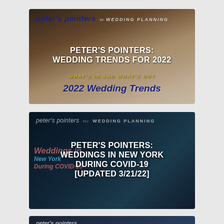[Figure (illustration): Peter's Pointers for Wedding Planning – Wedding Trends for 2022: What's In and What's Out. Decorative card with bokeh lights and floral background. Text: peter's pointers for WEDDING PLANNING, PETER'S POINTERS: WEDDING TRENDS FOR 2022, WHAT'S IN AND WHAT'S OUT, 2022 Wedding Trends]
[Figure (illustration): Peter's Pointers for Wedding Planning – Weddings in New York During COVID-19 [Updated 3/21/22]. Dark background with mask imagery. Text: peter's pointers for WEDDING PLANNING, PETER'S POINTERS: WEDDINGS IN NEW YORK DURING COVID-19 [UPDATED 3/21/22], overlapping italic red/blue text Weddings in New York During COVID-19]
[Figure (illustration): Third article card (partially visible): peter's pointers branding on dark background]